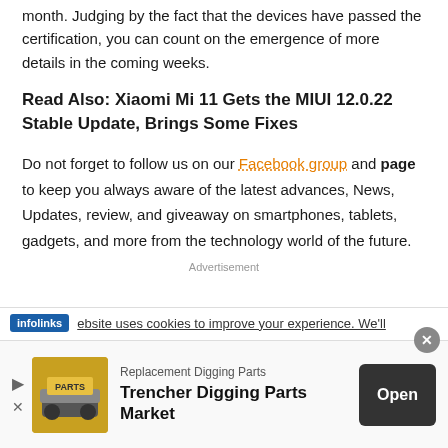month. Judging by the fact that the devices have passed the certification, you can count on the emergence of more details in the coming weeks.
Read Also: Xiaomi Mi 11 Gets the MIUI 12.0.22 Stable Update, Brings Some Fixes
Do not forget to follow us on our Facebook group and page to keep you always aware of the latest advances, News, Updates, review, and giveaway on smartphones, tablets, gadgets, and more from the technology world of the future.
Advertisement
infolinks — ebsite uses cookies to improve your experience. We'll
[Figure (screenshot): Ad banner: Replacement Digging Parts — Trencher Digging Parts Market with Open button]